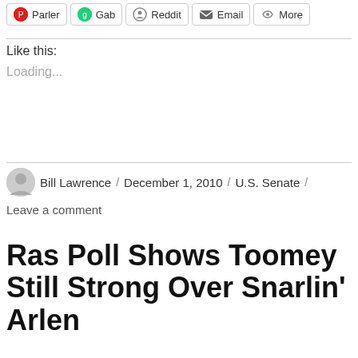[Figure (screenshot): Social share buttons row: Parler, Gab, Reddit, Email, More]
Like this:
Loading...
Bill Lawrence / December 1, 2010 / U.S. Senate / Leave a comment
Ras Poll Shows Toomey Still Strong Over Snarlin’ Arlen